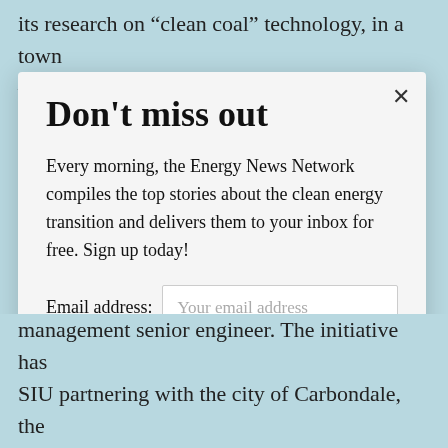its research on “clean coal” technology, in a town — Carbondale — literally named for its role in the
Don't miss out
Every morning, the Energy News Network compiles the top stories about the clean energy transition and delivers them to your inbox for free. Sign up today!
Email address: Your email address
Region
Midwest Energy News
Southeast Energy News
management senior engineer. The initiative has SIU partnering with the city of Carbondale, the